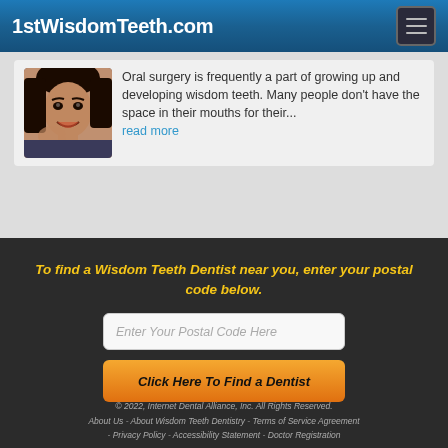1stWisdomTeeth.com
[Figure (photo): Smiling young woman touching her face, used as article thumbnail]
Oral surgery is frequently a part of growing up and developing wisdom teeth. Many people don't have the space in their mouths for their... read more
To find a Wisdom Teeth Dentist near you, enter your postal code below.
Enter Your Postal Code Here
Click Here To Find a Dentist
© 2022, Internet Dental Alliance, Inc. All Rights Reserved. About Us - About Wisdom Teeth Dentistry - Terms of Service Agreement - Privacy Policy - Accessibility Statement - Doctor Registration